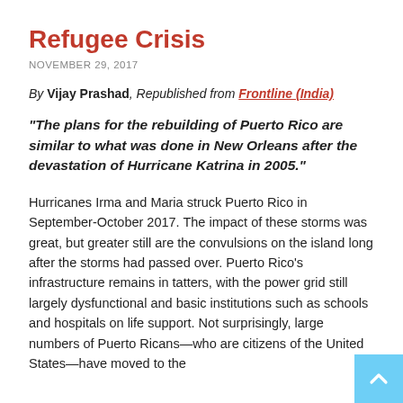Refugee Crisis
NOVEMBER 29, 2017
By Vijay Prashad, Republished from Frontline (India)
“The plans for the rebuilding of Puerto Rico are similar to what was done in New Orleans after the devastation of Hurricane Katrina in 2005.”
Hurricanes Irma and Maria struck Puerto Rico in September-October 2017. The impact of these storms was great, but greater still are the convulsions on the island long after the storms had passed over. Puerto Rico’s infrastructure remains in tatters, with the power grid still largely dysfunctional and basic institutions such as schools and hospitals on life support. Not surprisingly, large numbers of Puerto Ricans—who are citizens of the United States—have moved to the